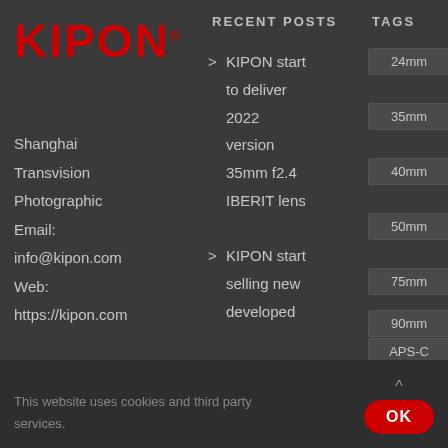[Figure (logo): KIPON logo in bold red text with registered trademark symbol]
RECENT POSTS
TAGS
Shanghai Transvision Photographic Email: info@kipon.com Web: https://kipon.com
> KIPON start to deliver 2022 version 35mm f2.4 IBERIT lens
> KIPON start selling new developed
24mm
35mm
40mm
50mm
75mm
90mm
APS-C
Bokeh
This website uses cookies and third party services.